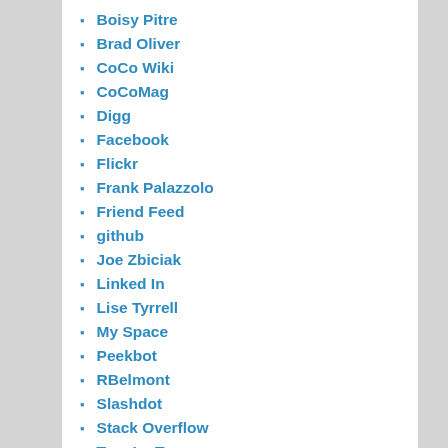Boisy Pitre
Brad Oliver
CoCo Wiki
CoCoMag
Digg
Facebook
Flickr
Frank Palazzolo
Friend Feed
github
Joe Zbiciak
Linked In
Lise Tyrrell
My Space
Peekbot
RBelmont
Slashdot
Stack Overflow
Tom La Torre
Twitter
Vimeo